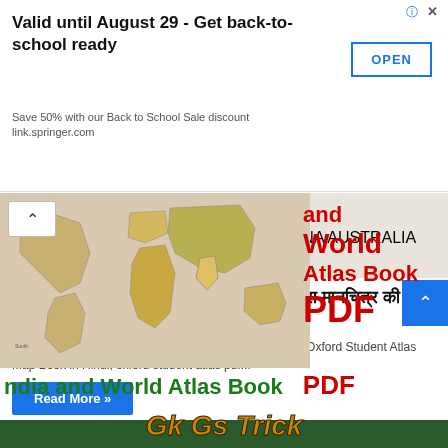Valid until August 29 - Get back-to-school ready | Save 50% with our Back to School Sale discount | link.springer.com | OPEN
[Figure (screenshot): Screenshot of a webpage showing an India and World Atlas Book PDF page from Gk Gs Trick website, featuring a world map image, red and green text overlay, and yellow stylized 'Gk Gs Trick' brand text]
Atlas Map Book PDF in Hindi ! एटलस मानचित्र की पुस्तक एवं नोट्स
श्रेणियाँ पुस्तकें/नोट्स Atlas Map Book PDF, atlas book pdf, Oxford Student Atlas Map Book in Hindi, oxford student atlas pdf...
Read More »